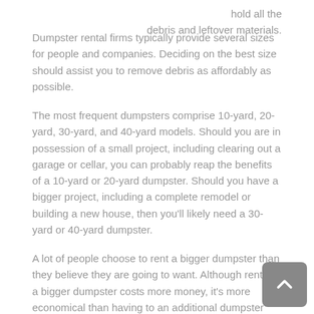hold all the debris and leftover materials.
Dumpster rental firms typically provide several sizes for people and companies. Deciding on the best size should assist you to remove debris as affordably as possible.
The most frequent dumpsters comprise 10-yard, 20-yard, 30-yard, and 40-yard models. Should you are in possession of a small project, including clearing out a garage or cellar, you can probably reap the benefits of a 10-yard or 20-yard dumpster. Should you have a bigger project, including a complete remodel or building a new house, then you'll likely need a 30-yard or 40-yard dumpster.
A lot of people choose to rent a bigger dumpster than they believe they are going to want. Although renting a bigger dumpster costs more money, it's more economical than having to an additional dumpster after a little one gets complete.